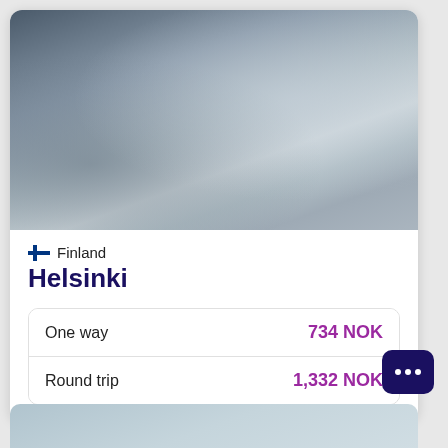[Figure (photo): Blurred travel destination photo of Helsinki, Finland — muted blue-grey tones suggesting a cityscape or harbour scene.]
Finland
Helsinki
|  |  |
| --- | --- |
| One way | 734 NOK |
| Round trip | 1,332 NOK |